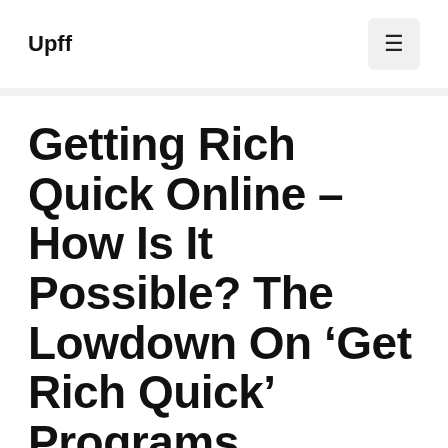Upff
Getting Rich Quick Online – How Is It Possible? The Lowdown On ‘Get Rich Quick’ Programs